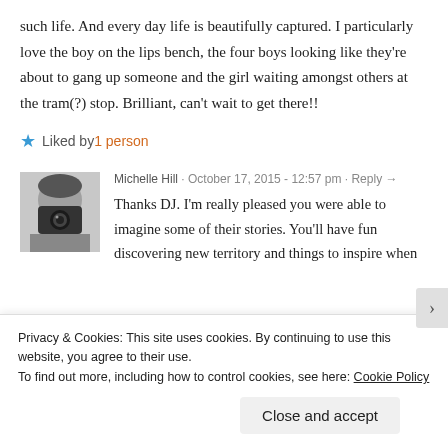such life. And every day life is beautifully captured. I particularly love the boy on the lips bench, the four boys looking like they're about to gang up someone and the girl waiting amongst others at the tram(?) stop. Brilliant, can't wait to get there!!
★ Liked by 1 person
[Figure (photo): Black and white avatar photo of Michelle Hill holding a camera up to her face]
Michelle Hill · October 17, 2015 - 12:57 pm · Reply →
Thanks DJ. I'm really pleased you were able to imagine some of their stories. You'll have fun discovering new territory and things to inspire when
Privacy & Cookies: This site uses cookies. By continuing to use this website, you agree to their use.
To find out more, including how to control cookies, see here: Cookie Policy
Close and accept